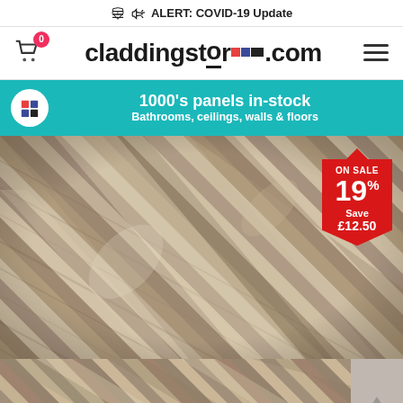🔔 ALERT: COVID-19 Update
[Figure (screenshot): Website header with shopping cart icon (badge: 0), claddingstore.com logo with coloured tiles, and hamburger menu icon]
1000's panels in-stock
Bathrooms, ceilings, walls & floors
[Figure (photo): Chevron/herringbone pattern wood-effect cladding panels in grey and beige tones, with a red sale tag showing ON SALE 19% Save £12.50]